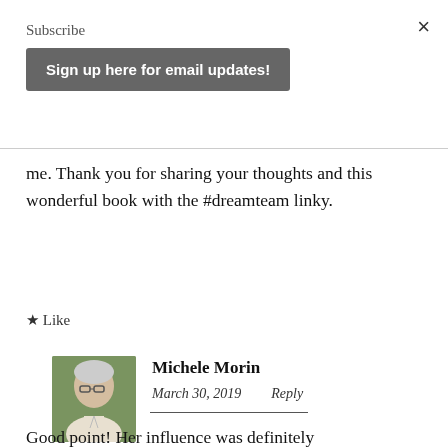×
Subscribe
Sign up here for email updates!
me. Thank you for sharing your thoughts and this wonderful book with the #dreamteam linky.
★ Like
Michele Morin
March 30, 2019   Reply
Good point! Her influence was definitely